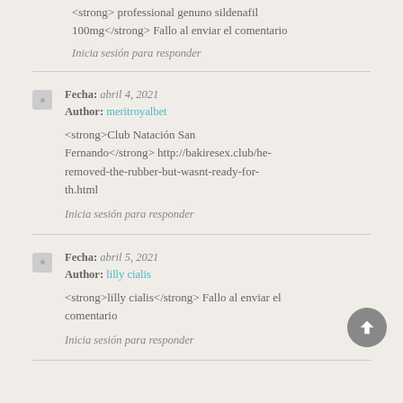<strong> professional genuno sildenafil 100mg</strong> Fallo al enviar el comentario
Inicia sesión para responder
Fecha: abril 4, 2021
Author: meritroyalbet
<strong>Club Natación San Fernando</strong> http://bakiresex.club/he-removed-the-rubber-but-wasnt-ready-for-th.html
Inicia sesión para responder
Fecha: abril 5, 2021
Author: lilly cialis
<strong>lilly cialis</strong> Fallo al enviar el comentario
Inicia sesión para responder